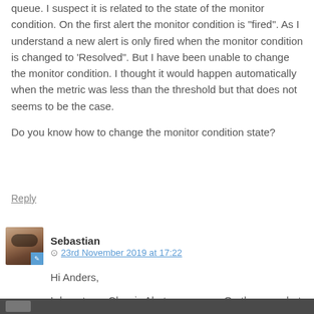queue. I suspect it is related to the state of the monitor condition. On the first alert the monitor condition is "fired". As I understand a new alert is only fired when the monitor condition is changed to 'Resolved". But I have been unable to change the monitor condition. I thought it would happen automatically when the metric was less than the threshold but that does not seems to be the case.
Do you know how to change the monitor condition state?
Reply
Sebastian  23rd November 2019 at 17:22
Hi Anders,
I do not use Classic Alerts any more. On the new alerts the resolve happens based on the settings for Period and Frequency in the section „ Evaluated based on". Hope that helps.
Sebastian